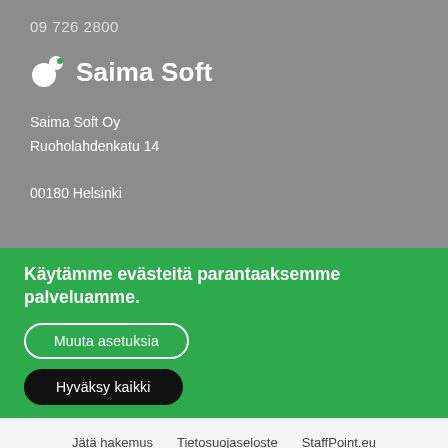09 726 2800
[Figure (logo): Saima Soft logo with circular icon and text 'Saima Soft' in white]
Saima Soft Oy
Ruoholahdenkatu 14
00180 Helsinki
Käytämme evästeitä parantaaksemme palveluamme.
Muuta asetuksia
Hyväksy kaikki
Jätä hakemus   Tietosuojaseloste   StaffPoint.eu
Copyright © StaffPoint Oy. Kaikki oikeudet pidätetään